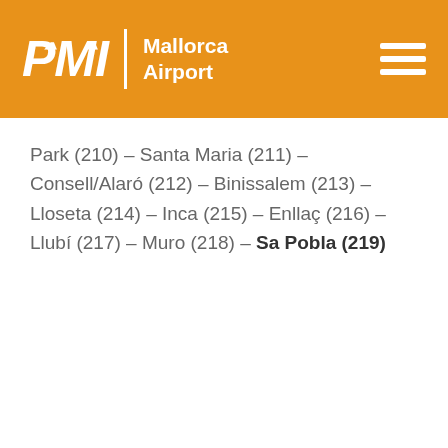PMI Mallorca Airport
Park (210) – Santa Maria (211) – Consell/Alaró (212) – Binissalem (213) – Lloseta (214) – Inca (215) – Enllaç (216) – Llubí (217) – Muro (218) – Sa Pobla (219)